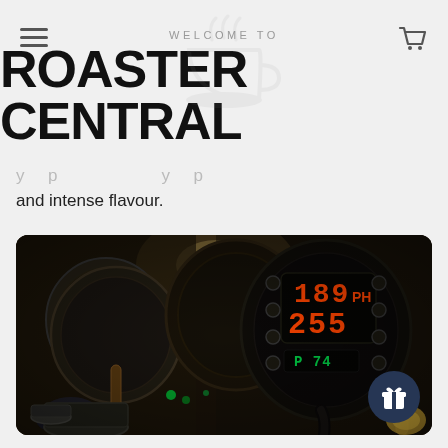WELCOME TO ROASTER CENTRAL
and intense flavour.
[Figure (photo): Close-up photograph of a professional coffee roasting machine with a digital control panel showing orange LED displays reading '189 PH' and '255', multiple black roasting drums with wooden-handled levers, and various controls and buttons. Green indicator lights visible in background.]